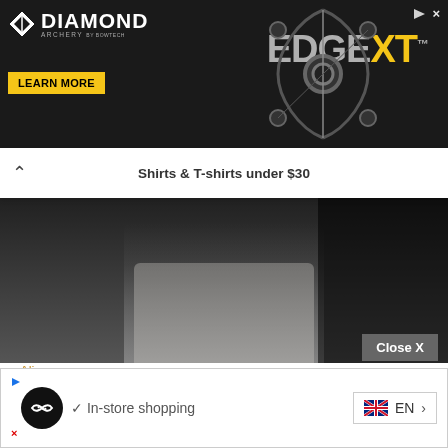[Figure (photo): Diamond Archery advertisement banner with compound bow image and EDGE XT branding, with LEARN MORE button]
Shirts & T-shirts under $30
[Figure (photo): Dark background article header image showing partial figure in white shirt]
Aliexpress
Cheap Men’s T-shirt and Shirts online to buy under $30
by Tim Blue | November 18, 2020
[Figure (other): Bottom advertisement with infinity symbol icon, checkmark, In-store shopping text, and EN language selector with UK flag]
Close X
✓ In-store shopping
EN >